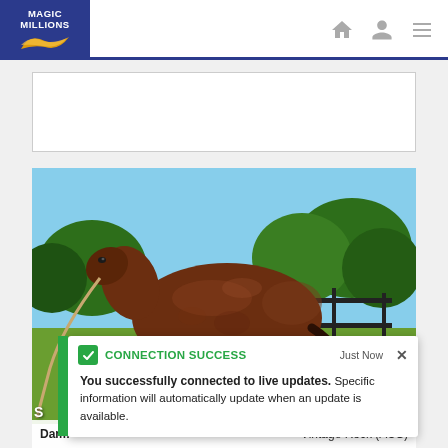MAGIC MILLIONS
[Figure (photo): A brown horse standing in profile view inside a fenced paddock with trees in background]
CONNECTION SUCCESS Just Now X
You successfully connected to live updates.
Specific information will automatically update when an update is available.
Dam: Vintage Rock (AUS)